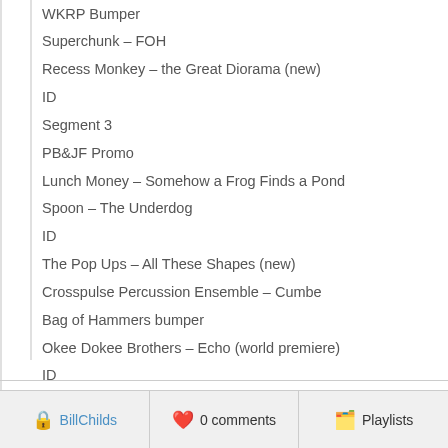WKRP Bumper
Superchunk – FOH
Recess Monkey – the Great Diorama (new)
ID
Segment 3
PB&JF Promo
Lunch Money – Somehow a Frog Finds a Pond
Spoon – The Underdog
ID
The Pop Ups – All These Shapes (new)
Crosspulse Percussion Ensemble – Cumbe
Bag of Hammers bumper
Okee Dokee Brothers – Echo (world premiere)
ID
TMBG – What Is a Shooting Star?
TMBG – Spare the Rock
BillChilds   0 comments   Playlists